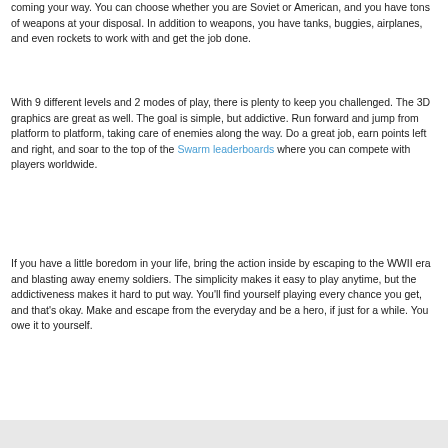coming your way. You can choose whether you are Soviet or American, and you have tons of weapons at your disposal. In addition to weapons, you have tanks, buggies, airplanes, and even rockets to work with and get the job done.
With 9 different levels and 2 modes of play, there is plenty to keep you challenged. The 3D graphics are great as well. The goal is simple, but addictive. Run forward and jump from platform to platform, taking care of enemies along the way. Do a great job, earn points left and right, and soar to the top of the Swarm leaderboards where you can compete with players worldwide.
If you have a little boredom in your life, bring the action inside by escaping to the WWII era and blasting away enemy soldiers. The simplicity makes it easy to play anytime, but the addictiveness makes it hard to put way. You'll find yourself playing every chance you get, and that's okay. Make and escape from the everyday and be a hero, if just for a while. You owe it to yourself.